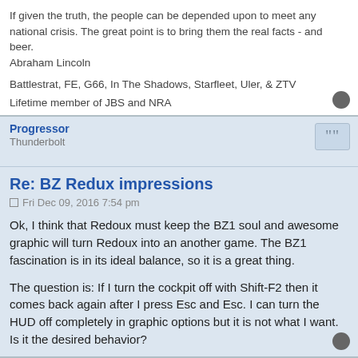If given the truth, the people can be depended upon to meet any national crisis. The great point is to bring them the real facts - and beer.
Abraham Lincoln
Battlestrat, FE, G66, In The Shadows, Starfleet, Uler, & ZTV
Lifetime member of JBS and NRA
Progressor
Thunderbolt
Re: BZ Redux impressions
Fri Dec 09, 2016 7:54 pm
Ok, I think that Redoux must keep the BZ1 soul and awesome graphic will turn Redoux into an another game. The BZ1 fascination is in its ideal balance, so it is a great thing.
The question is: If I turn the cockpit off with Shift-F2 then it comes back again after I press Esc and Esc. I can turn the HUD off completely in graphic options but it is not what I want. Is it the desired behavior?
GSH
Patch Creator